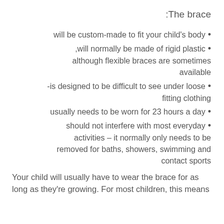The brace:
will be custom-made to fit your child's body
will normally be made of rigid plastic, although flexible braces are sometimes available
is designed to be difficult to see under loose-fitting clothing
usually needs to be worn for 23 hours a day
should not interfere with most everyday activities – it normally only needs to be removed for baths, showers, swimming and contact sports
Your child will usually have to wear the brace for as long as they're growing. For most children, this means